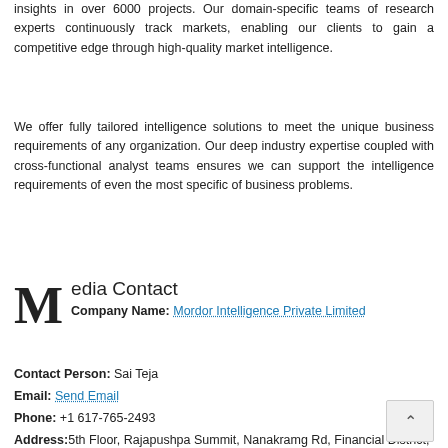insights in over 6000 projects. Our domain-specific teams of research experts continuously track markets, enabling our clients to gain a competitive edge through high-quality market intelligence.
We offer fully tailored intelligence solutions to meet the unique business requirements of any organization. Our deep industry expertise coupled with cross-functional analyst teams ensures we can support the intelligence requirements of even the most specific of business problems.
Media Contact
Company Name: Mordor Intelligence Private Limited
Contact Person: Sai Teja
Email: Send Email
Phone: +1 617-765-2493
Address: 5th Floor, Rajapushpa Summit, Nanakramg Rd, Financial District, Gachibowli
City: Hyderabad